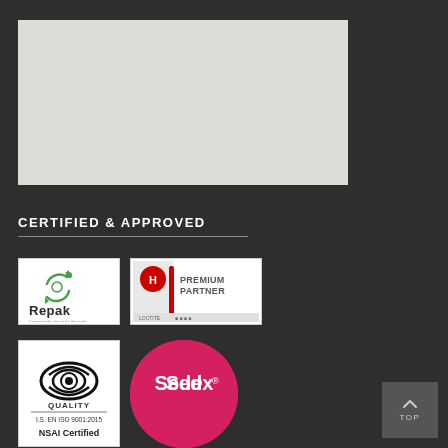[Figure (other): Light gray placeholder image rectangle at the top of the page]
CERTIFIED & APPROVED
[Figure (logo): Repak certification logo - white background with green circular leaf design and 'Repak' text]
[Figure (logo): Henkel Premium Partner badge - white/grey background with red Henkel logo, 'PREMIUM PARTNER' text, and Loctite brand logos at bottom]
[Figure (logo): NSAI Quality ISO 9001:2015 certification logo - white background with black eye-like symbol, 'QUALITY I.S. EN ISO 9001:2015 NSAI Certified' text]
[Figure (logo): Sedex logo - pink/magenta circle with white 'Sedex' text and registered trademark symbol]